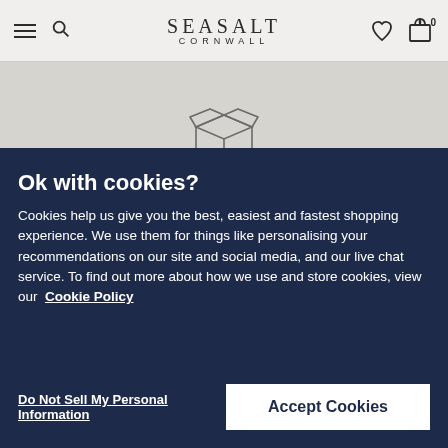SEASALT CORNWALL
[Figure (illustration): Open cardboard box icon, line art style]
FREE STANDARD DELIVERY
5-9 working days
Ok with cookies?
Cookies help us give you the best, easiest and fastest shopping experience. We use them for things like personalising your recommendations on our site and social media, and our live chat service. To find out more about how we use and store cookies, view our Cookie Policy
Do Not Sell My Personal Information
Accept Cookies